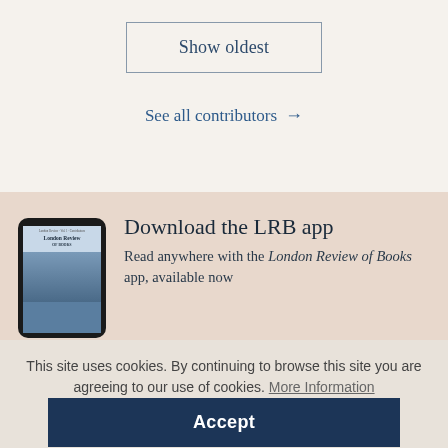Show oldest
See all contributors →
[Figure (screenshot): Phone mockup showing London Review of Books app cover]
Download the LRB app
Read anywhere with the London Review of Books app, available now
This site uses cookies. By continuing to browse this site you are agreeing to our use of cookies. More Information
Accept